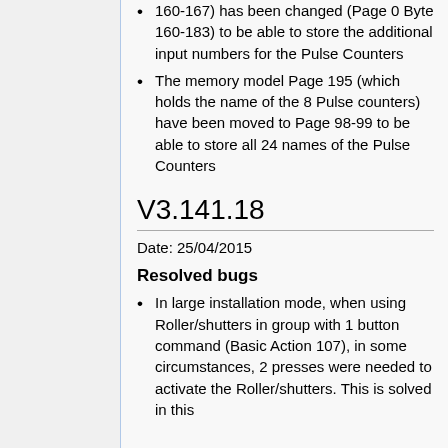160-167) has been changed (Page 0 Byte 160-183) to be able to store the additional input numbers for the Pulse Counters
The memory model Page 195 (which holds the name of the 8 Pulse counters) have been moved to Page 98-99 to be able to store all 24 names of the Pulse Counters
V3.141.18
Date: 25/04/2015
Resolved bugs
In large installation mode, when using Roller/shutters in group with 1 button command (Basic Action 107), in some circumstances, 2 presses were needed to activate the Roller/shutters. This is solved in this